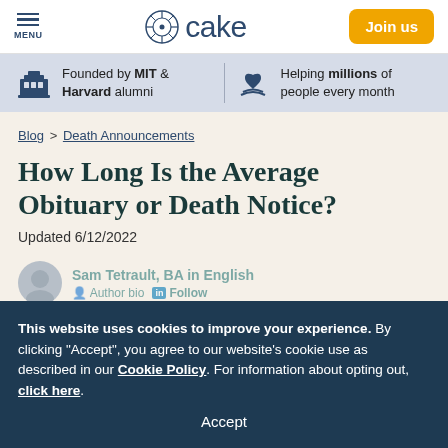MENU | cake | Join us
Founded by MIT & Harvard alumni | Helping millions of people every month
Blog > Death Announcements
How Long Is the Average Obituary or Death Notice?
Updated 6/12/2022
Sam Tetrault, BA in English
This website uses cookies to improve your experience. By clicking "Accept", you agree to our website's cookie use as described in our Cookie Policy. For information about opting out, click here.
Accept